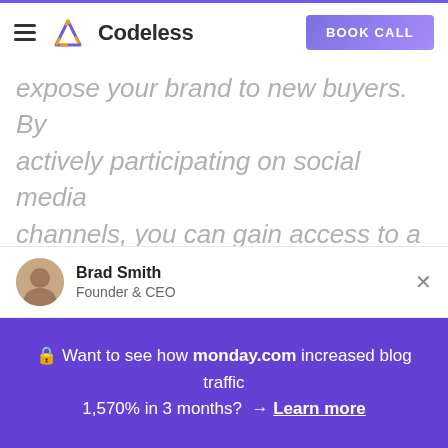Codeless | BOOK CALL
expose your brand to new buyers. By actively participating on social media channels, you can gain access to a wider national and international clientele.
When you put efforts into building, nurturing, and growing your relationship with customers, the level of engagement increases, which eventually leads to brand
Brad Smith
Founder & CEO
🔒 Want to see how monday.com increased blog traffic 1,570% in 3 months? → Learn more